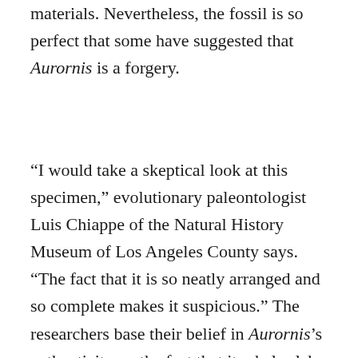materials. Nevertheless, the fossil is so perfect that some have suggested that Aurornis is a forgery.
“I would take a skeptical look at this specimen,” evolutionary paleontologist Luis Chiappe of the Natural History Museum of Los Angeles County says. “The fact that it is so neatly arranged and so complete makes it suspicious.” The researchers base their belief in Aurornis’s authenticity on the fact that its shale slab looks like the sort of shale encasing Liaoning’s feathered Anchiornis. They could not detect “any trace of forgery”¹ and therefore write, “The